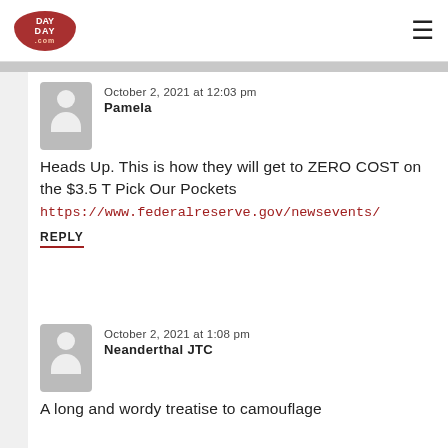Day Day (logo) | hamburger menu
October 2, 2021 at 12:03 pm
Pamela
Heads Up. This is how they will get to ZERO COST on the $3.5 T Pick Our Pockets
https://www.federalreserve.gov/newsevents/
REPLY
October 2, 2021 at 1:08 pm
Neanderthal JTC
A long and wordy treatise to camouflage